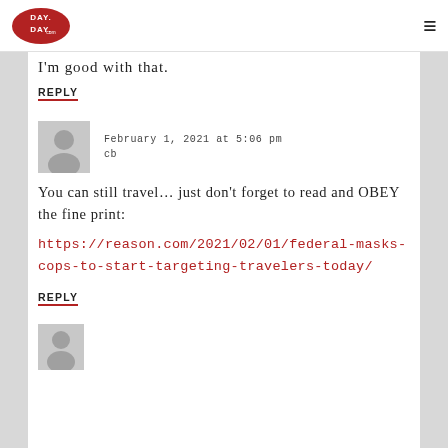DAY DAY (logo) | hamburger menu
I'm good with that.
REPLY
February 1, 2021 at 5:06 pm
cb
You can still travel… just don't forget to read and OBEY the fine print:
https://reason.com/2021/02/01/federal-masks-cops-to-start-targeting-travelers-today/
REPLY